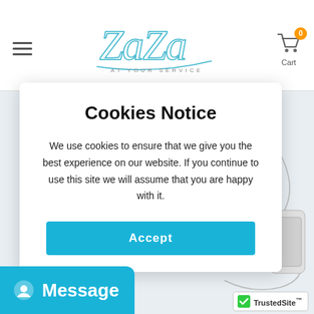[Figure (logo): ZaZa At Your Service logo with hamburger menu and cart icon showing 0 items]
[Figure (engineering-diagram): Diagram of VR headset with labeled parts: Headband (1), Interpupillary distance adjuster (2), Screen center point (3), Removable large screen frame (4), Lens (5), Mobile phone well (6)]
Cookies Notice
We use cookies to ensure that we give you the best experience on our website. If you continue to use this site we will assume that you are happy with it.
Accept
Message
[Figure (logo): TrustedSite badge with checkmark]